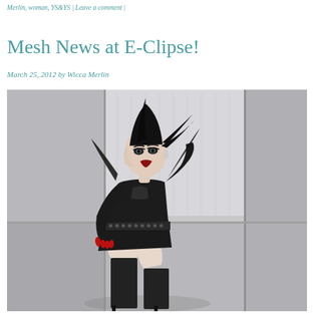Merlin, woman, YS&YS | Leave a comment |
Mesh News at E-Clipse!
March 25, 2012 by Wicca Merlin
[Figure (photo): A 3D rendered avatar of a gothic woman wearing a black leather mini dress with studded belt, dramatic black shoulder wings, long black gloves, and black thigh-high boots. She has a dramatic black updo hairstyle and pale skin, posed against a grey geometric background.]